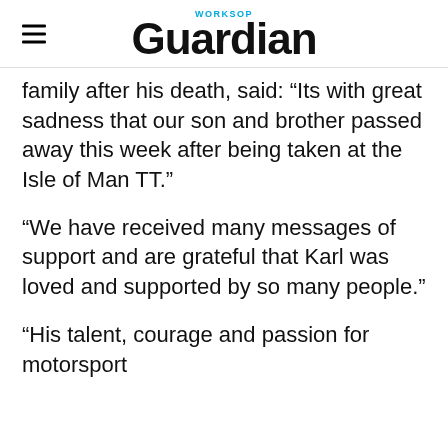Worksop Guardian
family after his death, said: "Its with great sadness that our son and brother passed away this week after being taken at the Isle of Man TT."
“We have received many messages of support and are grateful that Karl was loved and supported by so many people.”
“His talent, courage and passion for motorsport